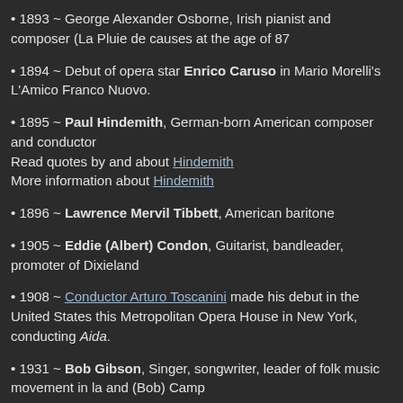1893 ~ George Alexander Osborne, Irish pianist and composer (La Pluie de causes at the age of 87
1894 ~ Debut of opera star Enrico Caruso in Mario Morelli's L'Amico Franco Nuovo.
1895 ~ Paul Hindemith, German-born American composer and conductor Read quotes by and about Hindemith More information about Hindemith
1896 ~ Lawrence Mervil Tibbett, American baritone
1905 ~ Eddie (Albert) Condon, Guitarist, bandleader, promoter of Dixieland
1908 ~ Conductor Arturo Toscanini made his debut in the United States this Metropolitan Opera House in New York, conducting Aida.
1931 ~ Bob Gibson, Singer, songwriter, leader of folk music movement in la and (Bob) Camp
1932 ~ The Palace in New York City closed its doors. It was the most famous America. Later, it became a movie house with live performances preceding the team of Dean Martin and Jerry Lewis in their heyday.